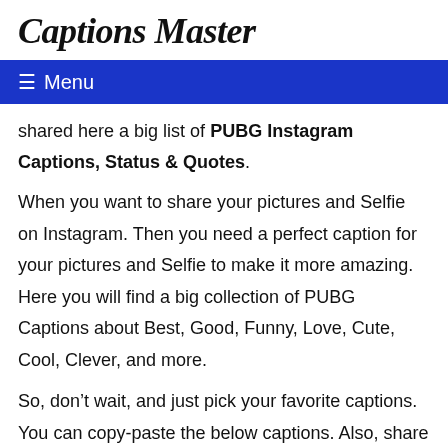Captions Master
≡ Menu
shared here a big list of PUBG Instagram Captions, Status & Quotes.
When you want to share your pictures and Selfie on Instagram. Then you need a perfect caption for your pictures and Selfie to make it more amazing. Here you will find a big collection of PUBG Captions about Best, Good, Funny, Love, Cute, Cool, Clever, and more.
So, don't wait, and just pick your favorite captions. You can copy-paste the below captions. Also, share with your friends and social media sites. Hope you will like